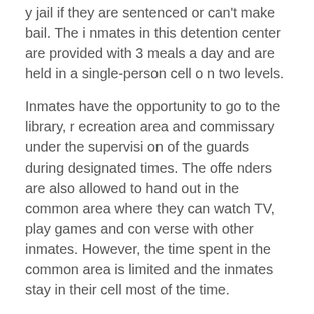y jail if they are sentenced or can't make bail. The inmates in this detention center are provided with 3 meals a day and are held in a single-person cell on two levels.
Inmates have the opportunity to go to the library, recreation area and commissary under the supervision of the guards during designated times. The offenders are also allowed to hand out in the common area where they can watch TV, play games and converse with other inmates. However, the time spent in the common area is limited and the inmates stay in their cell most of the time.
✏ Incorrect information? Suggest an edit!
South Jordan City Jail — General Information